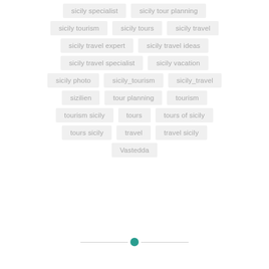sicily specialist
sicily tour planning
sicily tourism
sicily tours
sicily travel
sicily travel expert
sicily travel ideas
sicily travel specialist
sicily vacation
sicily photo
sicily_tourism
sicily_travel
sizilien
tour planning
tourism
tourism sicily
tours
tours of sicily
tours sicily
travel
travel sicily
Vastedda